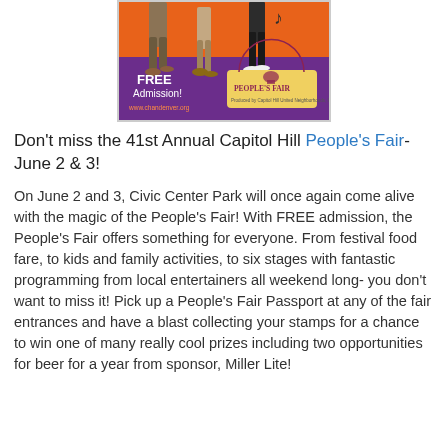[Figure (illustration): People's Fair promotional poster with orange and purple background, illustrated dancing figures, 'FREE Admission!' text, People's Fair logo, and website www.chandenver.org]
Don't miss the 41st Annual Capitol Hill People's Fair- June 2 & 3!
On June 2 and 3, Civic Center Park will once again come alive with the magic of the People's Fair! With FREE admission, the People's Fair offers something for everyone. From festival food fare, to kids and family activities, to six stages with fantastic programming from local entertainers all weekend long- you don't want to miss it! Pick up a People's Fair Passport at any of the fair entrances and have a blast collecting your stamps for a chance to win one of many really cool prizes including two opportunities for beer for a year from sponsor, Miller Lite!